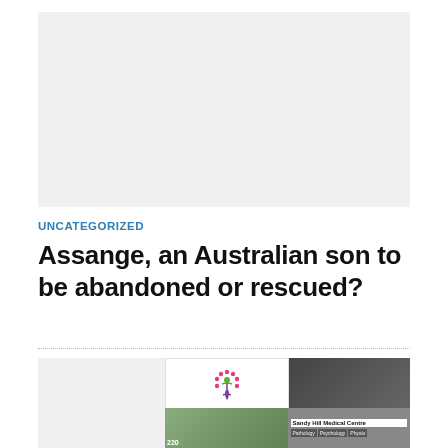[Figure (other): Grey advertisement placeholder block at the top of the page]
UNCATEGORIZED
Assange, an Australian son to be abandoned or rescued?
[Figure (photo): Sandy Hill Medical Centre advertisement with logo (pink dot tree with green figure), interior photo of medical centre, exterior photo of building, and signage showing Pathology, Psychology, and other services]